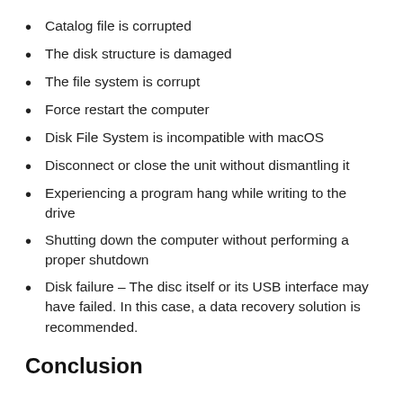Catalog file is corrupted
The disk structure is damaged
The file system is corrupt
Force restart the computer
Disk File System is incompatible with macOS
Disconnect or close the unit without dismantling it
Experiencing a program hang while writing to the drive
Shutting down the computer without performing a proper shutdown
Disk failure – The disc itself or its USB interface may have failed. In this case, a data recovery solution is recommended.
Conclusion